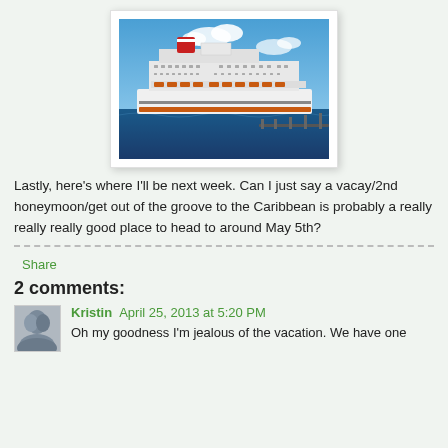[Figure (photo): A large cruise ship (Carnival line) on blue ocean water under a partly cloudy blue sky, photographed from another vessel with a railing visible in the foreground.]
Lastly, here's where I'll be next week.  Can I just say a vacay/2nd honeymoon/get out of the groove to the Caribbean is probably a really really really good place to head to around May 5th?
Share
2 comments:
Kristin  April 25, 2013 at 5:20 PM
Oh my goodness I'm jealous of the vacation. We have one